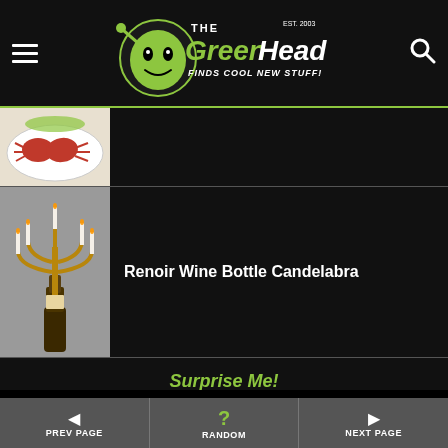The GreenHead - Finds Cool New Stuff!
[Figure (photo): Partial product thumbnail showing red crab-shaped items on white plate]
[Figure (photo): Candelabra made from wine bottle with ornate golden arms holding white candles]
Renoir Wine Bottle Candelabra
Surprise Me!
[Figure (infographic): Social media icons: Pinterest (red), Instagram (purple-red gradient), YouTube (red), RSS (orange)]
Copyright © 2003-2022 TheGreenHead.com All
PREV PAGE  RANDOM  NEXT PAGE